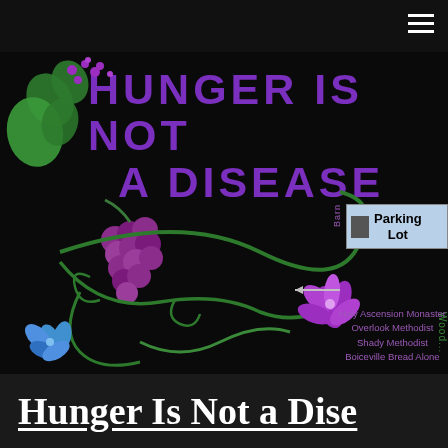[Figure (illustration): Website screenshot showing 'Hunger Is Not a Disease' banner with purple text on black background, green floral vine decorations, purple grape cluster, purple and blue flowers, a map detail with parking lot and church names (Holy Ascension Monastery, Overlook Methodist, Shady Methodist, Boiceville Bread Alone), and hamburger menu icon in top right corner.]
Hunger Is Not a Dise